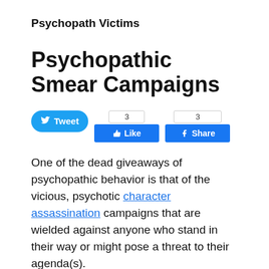Psychopath Victims
Psychopathic Smear Campaigns
[Figure (other): Social media share buttons: Tweet button (Twitter/blue), Facebook Like button with count 3, Facebook Share button with count 3]
One of the dead giveaways of psychopathic behavior is that of the vicious, psychotic character assassination campaigns that are wielded against anyone who stand in their way or might pose a threat to their agenda(s).